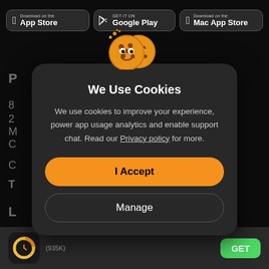[Figure (screenshot): App store download buttons: App Store, Google Play, Mac App Store on dark background]
[Figure (illustration): Two cartoon cookie emojis with smiley faces overlapping, positioned above the modal dialog]
We Use Cookies
We use cookies to improve your experience, power app usage analytics and enable support chat. Read our Privacy policy for more.
I Accept
Manage
[Figure (logo): App icon: circular chart/timer logo in orange and yellow on dark background]
(935K)
GET